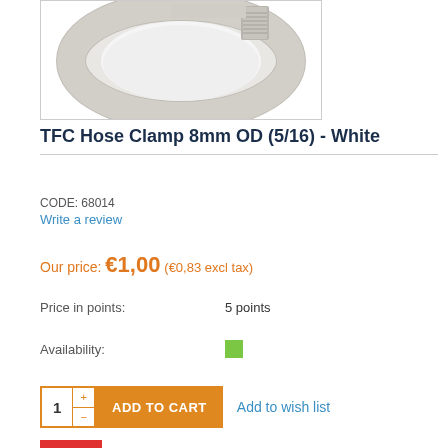[Figure (photo): Product photo of TFC Hose Clamp 8mm OD white, shown as a metallic ring clamp viewed from above against white background]
TFC Hose Clamp 8mm OD (5/16) - White
CODE: 68014
Write a review
Our price: €1,00 (€0,83 excl tax)
Price in points: 5 points
Availability:
ADD TO CART   Add to wish list